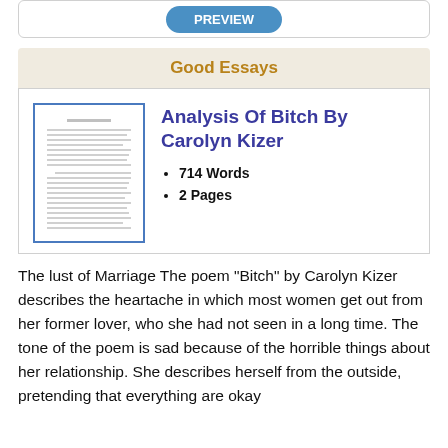[Figure (screenshot): Partial preview button (blue rounded button) inside a white card with border]
Good Essays
[Figure (illustration): Thumbnail of a document page with text lines]
Analysis Of Bitch By Carolyn Kizer
714 Words
2 Pages
The lust of Marriage The poem "Bitch" by Carolyn Kizer describes the heartache in which most women get out from her former lover, who she had not seen in a long time. The tone of the poem is sad because of the horrible things about her relationship. She describes herself from the outside, pretending that everything are okay